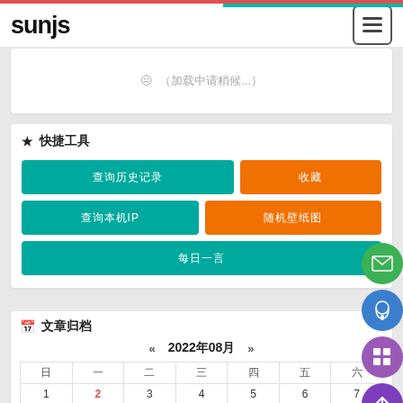sunjs
☹ （content loading...）
★ 快捷工具
查询历史记录 | 收藏
查询本机IP | 随机壁纸
每日一言
📅 文章归档
« 2022年08月 »
| 日 | 一 | 二 | 三 | 四 | 五 | 六 |
| --- | --- | --- | --- | --- | --- | --- |
| 1 | 2 | 3 | 4 | 5 | 6 | 7 |